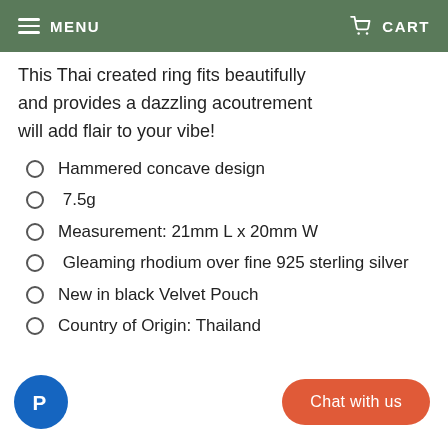MENU   CART
This Thai created ring fits beautifully and provides a dazzling acoutrement will add flair to your vibe!
Hammered concave design
7.5g
Measurement: 21mm L x 20mm W
Gleaming rhodium over fine 925 sterling silver
New in black Velvet Pouch
Country of Origin: Thailand